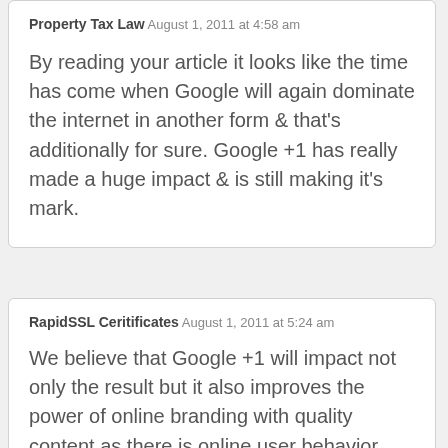Property Tax Law · August 1, 2011 at 4:58 am
By reading your article it looks like the time has come when Google will again dominate the internet in another form & that's additionally for sure. Google +1 has really made a huge impact & is still making it's mark.
RapidSSL Ceritificates · August 1, 2011 at 5:24 am
We believe that Google +1 will impact not only the result but it also improves the power of online branding with quality content as there is online user behavior study that